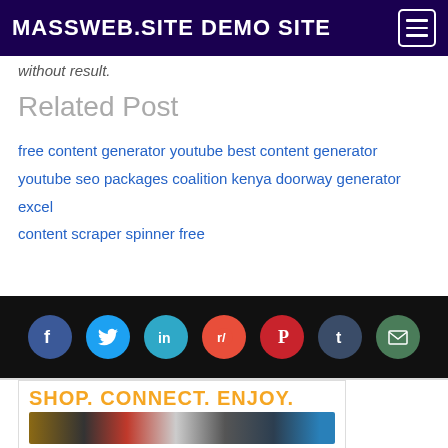MASSWEB.SITE DEMO SITE
without result.
Related Post
free content generator youtube best content generator youtube seo packages coalition kenya doorway generator excel content scraper spinner free
[Figure (infographic): Social sharing icons row: Facebook, Twitter, LinkedIn, Reddit, Pinterest, Tumblr, Email on dark background]
[Figure (infographic): Advertisement banner showing 'SHOP. CONNECT. ENJOY.' in orange text with product images including electronics, appliances, books, and movies]